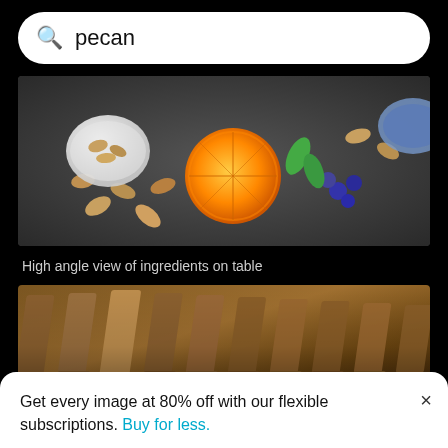pecan
[Figure (photo): High angle view of ingredients on table including nuts in a bowl, a halved orange, and blueberries on a dark surface]
High angle view of ingredients on table
[Figure (photo): Close-up of typewriter keys, showing bronze/copper colored typebars in perspective]
Get every image at 80% off with our flexible subscriptions. Buy for less.
Close-up of typewriter